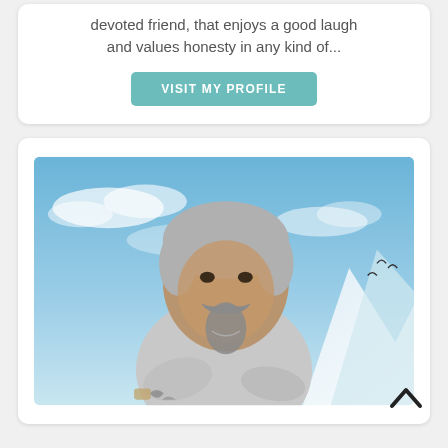devoted friend, that enjoys a good laugh and values honesty in any kind of...
VISIT MY PROFILE
[Figure (photo): Profile photo of a middle-aged man with gray hair, mustache and goatee, wearing a light gray shirt with arms crossed, posed in front of a blue sky and mountain background.]